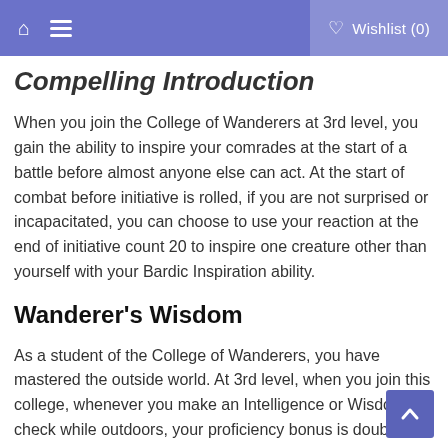Wishlist (0)
Compelling Introduction
When you join the College of Wanderers at 3rd level, you gain the ability to inspire your comrades at the start of a battle before almost anyone else can act. At the start of combat before initiative is rolled, if you are not surprised or incapacitated, you can choose to use your reaction at the end of initiative count 20 to inspire one creature other than yourself with your Bardic Inspiration ability.
Wanderer's Wisdom
As a student of the College of Wanderers, you have mastered the outside world. At 3rd level, when you join this college, whenever you make an Intelligence or Wisdom check while outdoors, your proficiency bonus is doubled if you are using a skill that you're proficient in. And you are proficient in Intelligence (Nature) and Wisdom (Survival) skills, as long...